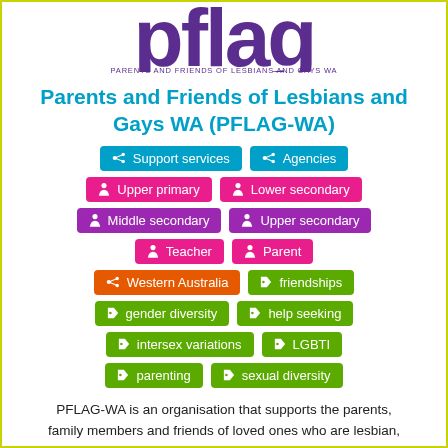[Figure (logo): PFLAG logo in purple large text with tagline below]
Parents and Friends of Lesbians and Gays WA (PFLAG-WA)
Support services
Agencies
Upper primary
Lower secondary
Middle secondary
Upper secondary
Teacher
Parent
Western Australia
friendships
gender diversity
help seeking
intersex variations
LGBTI
parenting
sexual diversity
PFLAG-WA is an organisation that supports the parents, family members and friends of loved ones who are lesbian, gay, bisexual, transgender or intersex. They offer support to those who